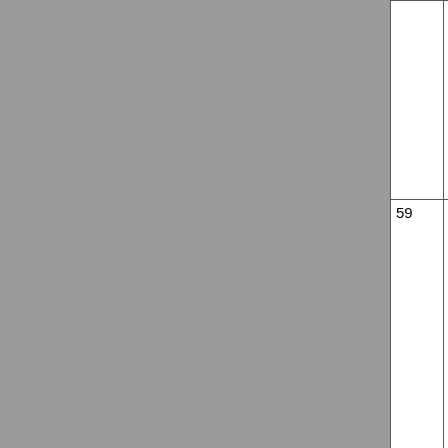| # | Date | Name | Info/Photo |
| --- | --- | --- | --- |
|  |  |  |  |
| 59 | October 28 | Bliss | Canine D (CTL1-H... |
| 58 | October 20 | Kandi | Canine W... |